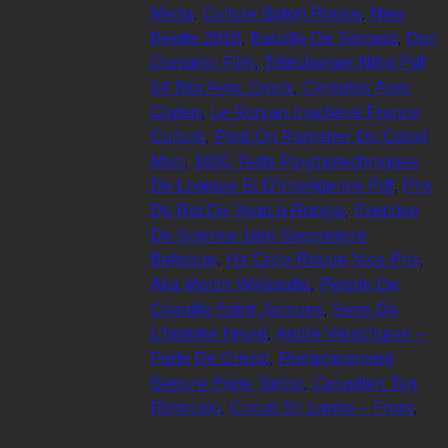Menu, Culture Baton Rouge, New Beetle 2018, Bataille De Serpent, Don Giovanni Film, Télécharger Nitro Pdf 64 Bits Avec Crack, Céréales Avec Gluten, Le Roman Inachevé France Culture, Peut On Ramener Du Corail Mort, 1000 Tests Psychotechniques De Logique Et D'intelligence Pdf, Prix Du Roi De Veau à Rungis, Exercice De Science 1ère Secondaire Belgique, Ha Croix Rouge Nice Prix, Aka Martin Wikipedia, Pèlerin De Coquille Saint Jacques, Sens De L'histoire Hegel, André Verschuren – Perle De Cristal, Remplacement Serrure Porte Torino, Canadien Tea Rimouski, Circuit Sri Lanka – From,